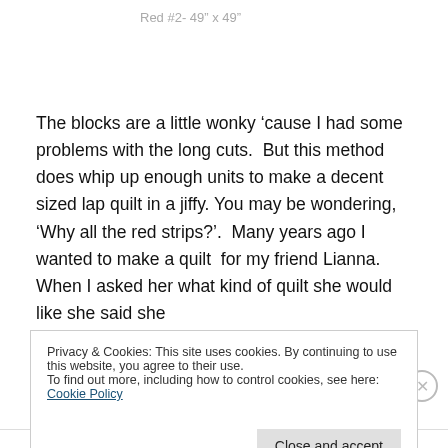Red #2- 49" x 49"
The blocks are a little wonky ‘cause I had some problems with the long cuts.  But this method does whip up enough units to make a decent sized lap quilt in a jiffy. You may be wondering, ‘Why all the red strips?’.  Many years ago I wanted to make a quilt  for my friend Lianna.  When I asked her what kind of quilt she would like she said she
Privacy & Cookies: This site uses cookies. By continuing to use this website, you agree to their use.
To find out more, including how to control cookies, see here: Cookie Policy
Close and accept